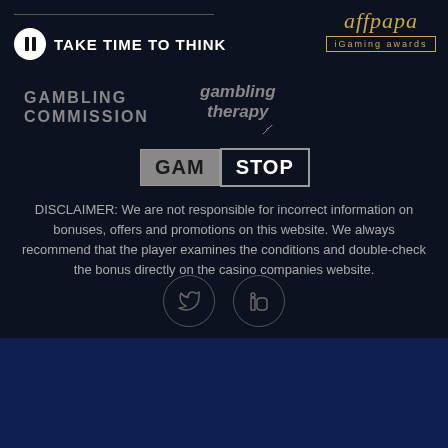[Figure (logo): Take Time To Think logo with pause icon and bold text]
[Figure (logo): affpapa iGaming awards logo with golden border]
[Figure (logo): Gambling Commission logo text]
[Figure (logo): Gambling Therapy logo with italic text and arrow]
[Figure (logo): GamStop logo with two-tone box design]
DISCLAIMER: We are not responsible for incorrect information on bonuses, offers and promotions on this website. We always recommend that the player examines the conditions and double-check the bonus directly on the casino companies website.
[Figure (illustration): Twitter and LinkedIn social media circle icons]
© Copyright 2022 Gamblersconnect.com - All Rights Reserved | Created by linkdatamedia.com
Terms and Conditions | Privacy Policy | About Us